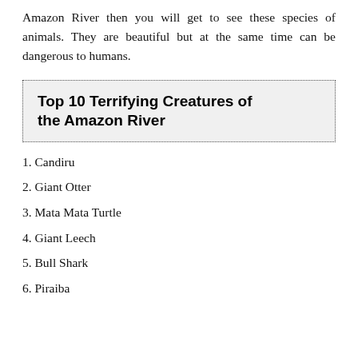Amazon River then you will get to see these species of animals. They are beautiful but at the same time can be dangerous to humans.
Top 10 Terrifying Creatures of the Amazon River
1. Candiru
2. Giant Otter
3. Mata Mata Turtle
4. Giant Leech
5. Bull Shark
6. Piraiba